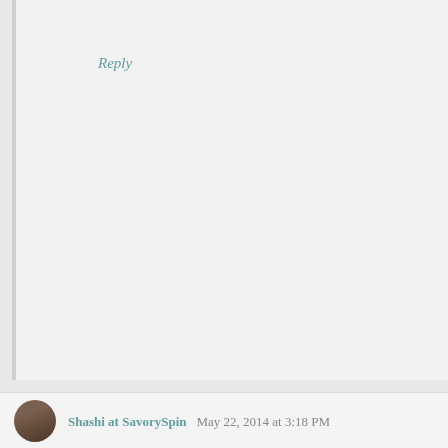Reply
Shashi at SavorySpin May 22, 2014 at 3:18 PM